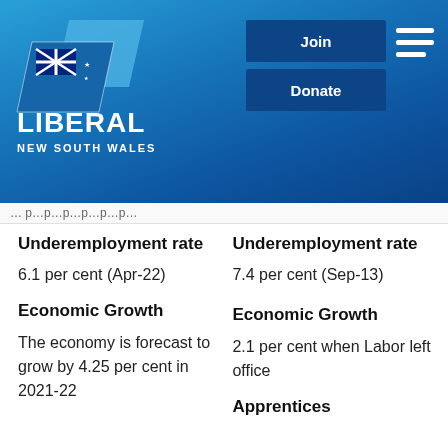[Figure (logo): Liberal Party New South Wales logo — blue parallelogram shapes with Australian flag, white text LIBERAL NEW SOUTH WALES]
Join
Donate
… (partial truncated breadcrumb/navigation text) …
Underemployment rate
6.1 per cent (Apr-22)
Underemployment rate
7.4 per cent (Sep-13)
Economic Growth
The economy is forecast to grow by 4.25 per cent in 2021-22
Economic Growth
2.1 per cent when Labor left office
Apprentices